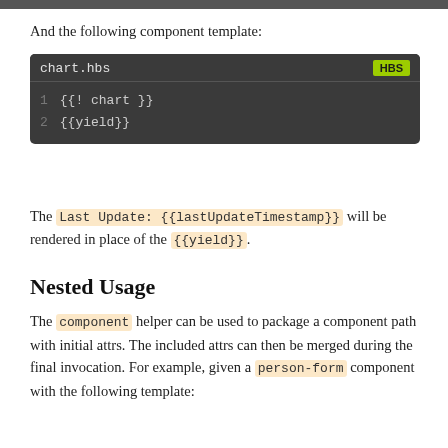And the following component template:
[Figure (screenshot): Code block showing chart.hbs template file with HBS badge. Line 1: {{! chart }} Line 2: {{yield}}]
The Last Update: {{lastUpdateTimestamp}} will be rendered in place of the {{yield}}.
Nested Usage
The component helper can be used to package a component path with initial attrs. The included attrs can then be merged during the final invocation. For example, given a person-form component with the following template: